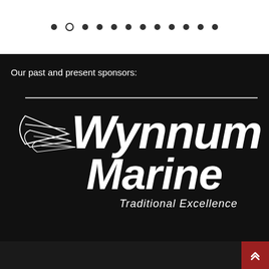navigation dots / pagination indicator
Our past and present sponsors:
[Figure (logo): Wynnum Marine - Traditional Excellence logo. White italic bold text on black background with stylized wing/speed lines graphic on the left side and a horizontal line above.]